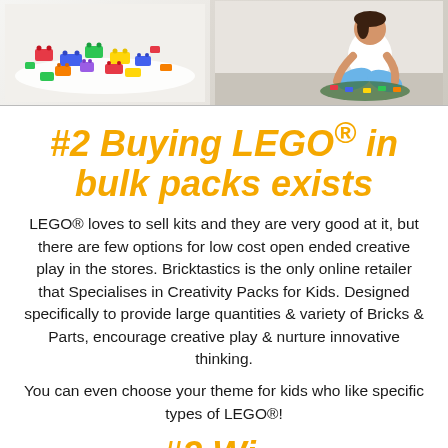[Figure (photo): Banner photo showing LEGO bricks spread out on white surface on the left, and a child sitting on the floor playing with LEGO on the right]
#2 Buying LEGO® in bulk packs exists
LEGO® loves to sell kits and they are very good at it, but there are few options for low cost open ended creative play in the stores. Bricktastics is the only online retailer that Specialises in Creativity Packs for Kids. Designed specifically to provide large quantities & variety of Bricks & Parts, encourage creative play & nurture innovative thinking.
You can even choose your theme for kids who like specific types of LEGO®!
#3 Wi...